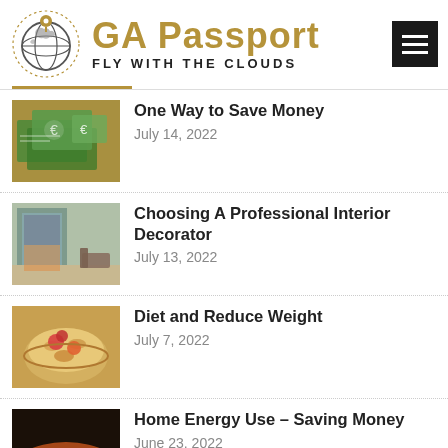[Figure (logo): GA Passport logo with globe and location pin, gold text reading GA Passport, tagline FLY WITH THE CLOUDS, and dark hamburger menu button]
One Way to Save Money
July 14, 2022
Choosing A Professional Interior Decorator
July 13, 2022
Diet and Reduce Weight
July 7, 2022
Home Energy Use – Saving Money
June 23, 2022